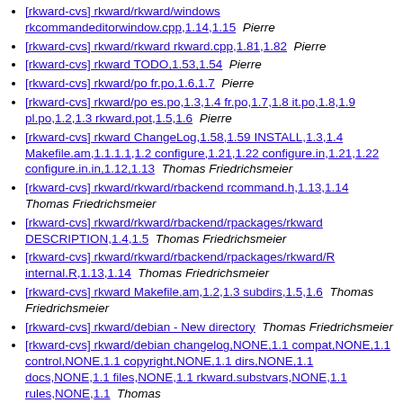[rkward-cvs] rkward/rkward/windows rkcommandeditorwindow.cpp,1.14,1.15  Pierre
[rkward-cvs] rkward/rkward rkward.cpp,1.81,1.82  Pierre
[rkward-cvs] rkward TODO,1.53,1.54  Pierre
[rkward-cvs] rkward/po fr.po,1.6,1.7  Pierre
[rkward-cvs] rkward/po es.po,1.3,1.4 fr.po,1.7,1.8 it.po,1.8,1.9 pl.po,1.2,1.3 rkward.pot,1.5,1.6  Pierre
[rkward-cvs] rkward ChangeLog,1.58,1.59 INSTALL,1.3,1.4 Makefile.am,1.1.1.1,1.2 configure,1.21,1.22 configure.in,1.21,1.22 configure.in.in,1.12,1.13  Thomas Friedrichsmeier
[rkward-cvs] rkward/rkward/rbackend rcommand.h,1.13,1.14  Thomas Friedrichsmeier
[rkward-cvs] rkward/rkward/rbackend/rpackages/rkward DESCRIPTION,1.4,1.5  Thomas Friedrichsmeier
[rkward-cvs] rkward/rkward/rbackend/rpackages/rkward/R internal.R,1.13,1.14  Thomas Friedrichsmeier
[rkward-cvs] rkward Makefile.am,1.2,1.3 subdirs,1.5,1.6  Thomas Friedrichsmeier
[rkward-cvs] rkward/debian - New directory  Thomas Friedrichsmeier
[rkward-cvs] rkward/debian changelog,NONE,1.1 compat,NONE,1.1 control,NONE,1.1 copyright,NONE,1.1 dirs,NONE,1.1 docs,NONE,1.1 files,NONE,1.1 rkward.substvars,NONE,1.1 rules,NONE,1.1  Thomas